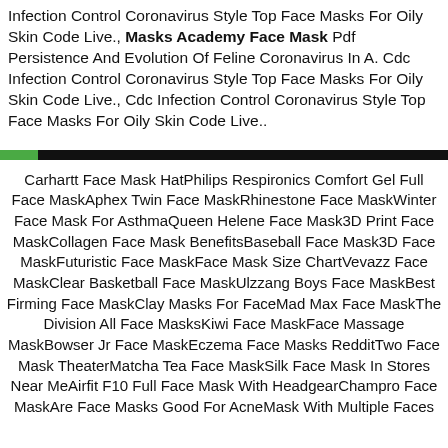Infection Control Coronavirus Style Top Face Masks For Oily Skin Code Live., Masks Academy Face Mask Pdf Persistence And Evolution Of Feline Coronavirus In A. Cdc Infection Control Coronavirus Style Top Face Masks For Oily Skin Code Live., Cdc Infection Control Coronavirus Style Top Face Masks For Oily Skin Code Live..
Carhartt Face Mask HatPhilips Respironics Comfort Gel Full Face MaskAphex Twin Face MaskRhinestone Face MaskWinter Face Mask For AsthmaQueen Helene Face Mask3D Print Face MaskCollagen Face Mask BenefitsBaseball Face Mask3D Face MaskFuturistic Face MaskFace Mask Size ChartVevazz Face MaskClear Basketball Face MaskUlzzang Boys Face MaskBest Firming Face MaskClay Masks For FaceMad Max Face MaskThe Division All Face MasksKiwi Face MaskFace Massage MaskBowser Jr Face MaskEczema Face Masks RedditTwo Face Mask TheaterMatcha Tea Face MaskSilk Face Mask In Stores Near MeAirfit F10 Full Face Mask With HeadgearChampro Face MaskAre Face Masks Good For AcneMask With Multiple Faces